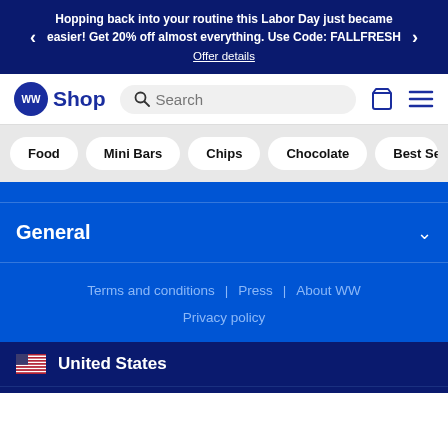Hopping back into your routine this Labor Day just became easier! Get 20% off almost everything. Use Code: FALLFRESH
Offer details
[Figure (logo): WW Shop logo with blue circle WW icon and 'Shop' text]
Food
Mini Bars
Chips
Chocolate
Best Sellers
General
Terms and conditions | Press | About WW
Privacy policy
United States